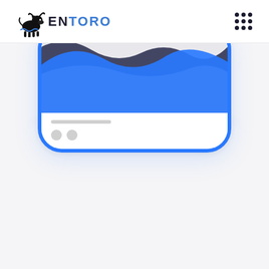[Figure (logo): ENTORO logo with a black bull silhouette icon on the left and the text 'ENTORO' in dark navy/black bold letters, with 'EN' in dark and 'TORO' styled similarly, accompanied by a 3x3 grid of navy dots icon on the right side of the header.]
[Figure (illustration): A cropped smartphone mockup with a blue border/frame showing a partial screen. The screen displays a colorful area chart with blue and dark gray/slate wave areas against a light background. Below the chart area are placeholder UI elements: a short gray horizontal line and two gray circles, suggesting a card or dashboard interface. The phone is shown from above against a light gray background with a subtle drop shadow.]